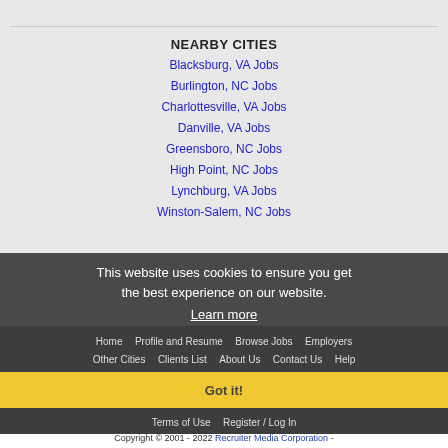NEARBY CITIES
Blacksburg, VA Jobs
Burlington, NC Jobs
Charlottesville, VA Jobs
Danville, VA Jobs
Greensboro, NC Jobs
High Point, NC Jobs
Lynchburg, VA Jobs
Winston-Salem, NC Jobs
This website uses cookies to ensure you get the best experience on our website.
Learn more
Home  Profile and Resume  Browse Jobs  Employers  Other Cities  Clients List  About Us  Contact Us  Help  Terms of Use  Register / Log In
Got it!
Copyright © 2001 - 2022 Recruiter Media Corporation -